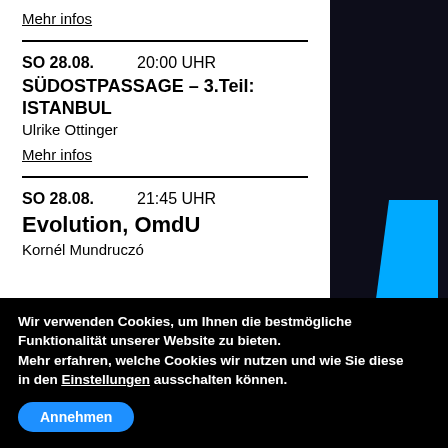Mehr infos
SO 28.08.   20:00 UHR
SÜDOSTPASSAGE – 3.Teil: ISTANBUL
Ulrike Ottinger
Mehr infos
SO 28.08.   21:45 UHR
Evolution, OmdU
Kornél Mundruczó
Wir verwenden Cookies, um Ihnen die bestmögliche Funktionalität unserer Website zu bieten. Mehr erfahren, welche Cookies wir nutzen und wie Sie diese in den Einstellungen ausschalten können.
Annehmen